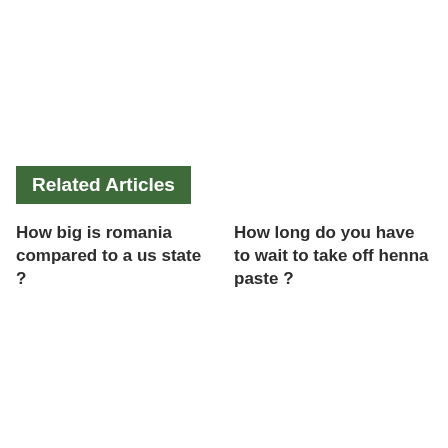Related Articles
How big is romania compared to a us state ?
How long do you have to wait to take off henna paste ?